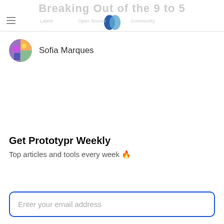Breaking Out of the 9 to 5
[Figure (logo): Prototypr logo — two overlapping leaf/teardrop shapes in dark blue and light blue forming a 'P' icon]
Sofia Marques
Get Prototypr Weekly
Top articles and tools every week 🔥
Enter your email address